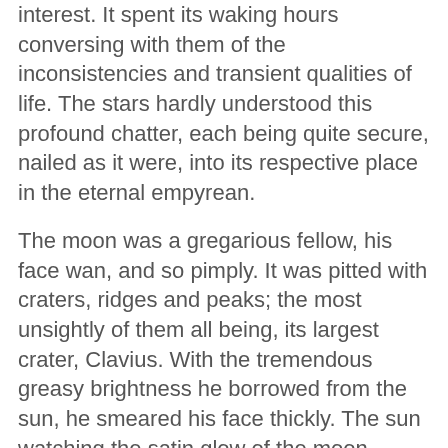interest. It spent its waking hours conversing with them of the inconsistencies and transient qualities of life. The stars hardly understood this profound chatter, each being quite secure, nailed as it were, into its respective place in the eternal empyrean.
The moon was a gregarious fellow, his face wan, and so pimply. It was pitted with craters, ridges and peaks; the most unsightly of them all being, its largest crater, Clavius. With the tremendous greasy brightness he borrowed from the sun, he smeared his face thickly. The sun watching the satin glow of the moon smiled, tongue in cheek, beamed mischievously.Thus made up for the nocturnal binge, well powered and painted the moon set off into the dark aquamarine night.